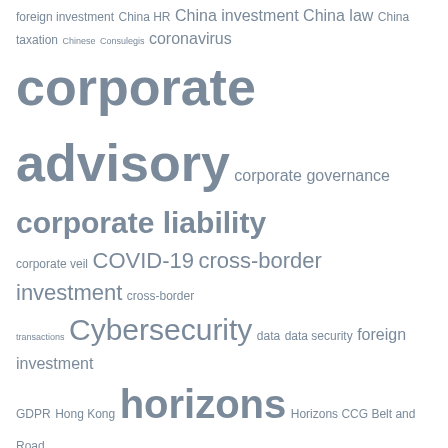[Figure (infographic): Tag cloud with legal and corporate advisory terms in varying font sizes and grey color. Terms include: foreign investment, China HR, China investment, China law, China taxation, Chinese, Consulegis, coronavirus, corporate advisory, corporate governance, corporate liability, corporate veil, COVID-19, cross-border investment, cross-border transactions, Cybersecurity, data, data security, foreign investment, GDPR, Hong Kong, horizons, Horizons CCG Belt and Road Initative, Horizons Corporate Advisory, international, internet, investment, labour, law, lawyers, legal, M&A, money, russia, tax, VAT, wealth]
[Figure (logo): Horizons logo: orange square beside large light grey text 'horizons']
ABOUT HORIZONS
horizons-advisory.com
The Square is Horizons Corporate Advisory's news, information and insights blog. Horizons is a unique corporate advisory with a